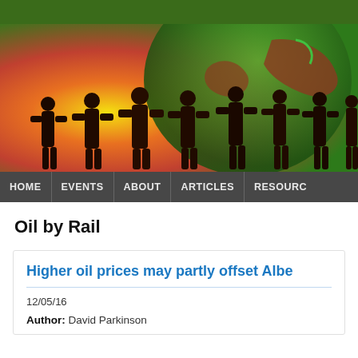[Figure (illustration): Website header with dark green bar at top, below which is a colorful illustration of silhouetted people holding hands in front of a globe with yellow, orange, red and green gradient colors. Navigation bar below with links: HOME, EVENTS, ABOUT, ARTICLES, RESOURCES.]
Oil by Rail
Higher oil prices may partly offset Albe...
12/05/16
Author: David Parkinson